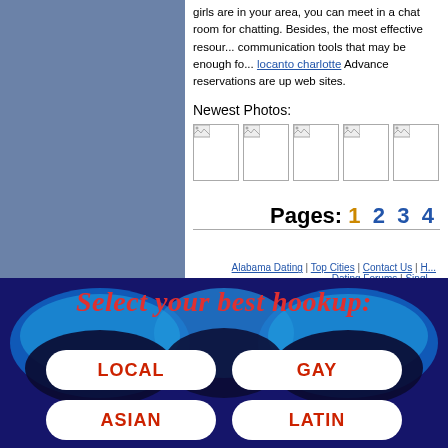girls are in your area, you can meet in a chat room for chatting. Besides, the most effective resource has communication tools that may be enough for locanto charlotte Advance reservations are up web sites.
Newest Photos:
[Figure (photo): Row of 5 thumbnail photos with broken image icons]
Pages: 1 2 3 4
Alabama Dating | Top Cities | Contact Us | H... Dating Forums | Singl...
[Figure (infographic): Select your best hookup banner with LOCAL, GAY, ASIAN, LATIN buttons on dark blue background]